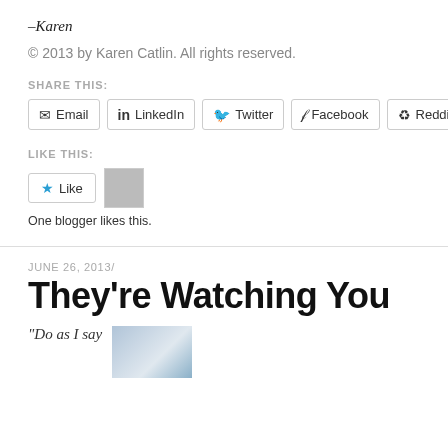–Karen
© 2013 by Karen Catlin. All rights reserved.
SHARE THIS:
Email  LinkedIn  Twitter  Facebook  Reddit
LIKE THIS:
Like
[Figure (photo): Small avatar thumbnail of a person]
One blogger likes this.
JUNE 26, 2013/
They're Watching You
“Do as I say
[Figure (photo): Partial image at bottom right, appears to be a person or outdoor scene]